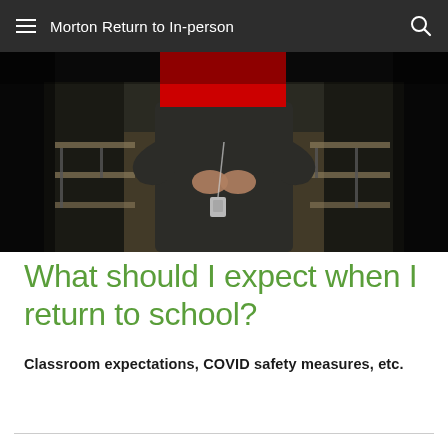Morton Return to In-person
[Figure (photo): A person wearing a dark sweater and lanyard/badge standing in a classroom with tables and chairs. The top of the person's head/face is obscured by a red rectangle. The classroom background shows wooden tables and chairs.]
What should I expect when I return to school?
Classroom expectations, COVID safety measures, etc.